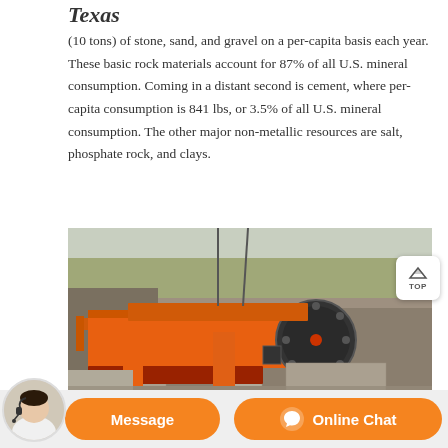Texas
(10 tons) of stone, sand, and gravel on a per-capita basis each year. These basic rock materials account for 87% of all U.S. mineral consumption. Coming in a distant second is cement, where per-capita consumption is 841 lbs, or 3.5% of all U.S. mineral consumption. The other major non-metallic resources are salt, phosphate rock, and clays.
[Figure (photo): Large orange jaw crusher / quarry crushing machine mounted on concrete pillars, set against a rocky quarry backdrop with bare trees in the background.]
Message | Online Chat